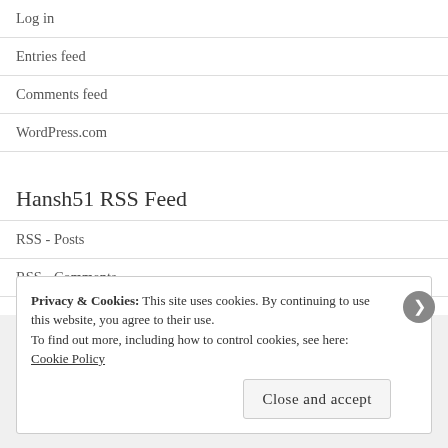Log in
Entries feed
Comments feed
WordPress.com
Hansh51 RSS Feed
RSS - Posts
RSS - Comments
Privacy & Cookies: This site uses cookies. By continuing to use this website, you agree to their use.
To find out more, including how to control cookies, see here:
Cookie Policy
Close and accept